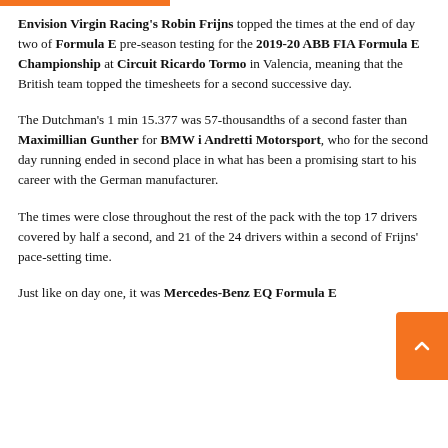Envision Virgin Racing's Robin Frijns topped the times at the end of day two of Formula E pre-season testing for the 2019-20 ABB FIA Formula E Championship at Circuit Ricardo Tormo in Valencia, meaning that the British team topped the timesheets for a second successive day.
The Dutchman's 1 min 15.377 was 57-thousandths of a second faster than Maximillian Gunther for BMW i Andretti Motorsport, who for the second day running ended in second place in what has been a promising start to his career with the German manufacturer.
The times were close throughout the rest of the pack with the top 17 drivers covered by half a second, and 21 of the 24 drivers within a second of Frijns' pace-setting time.
Just like on day one, it was Mercedes-Benz EQ Formula E...